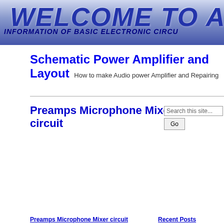WELCOME TO AF... INFORMATION OF BASIC ELECTRONIC CIRCU...
Schematic Power Amplifier and Layout   How to make Audio power Amplifier and Repairing
Preamps Microphone Mixer circuit
Preamps Microphone Mixer circuit   Recent Posts